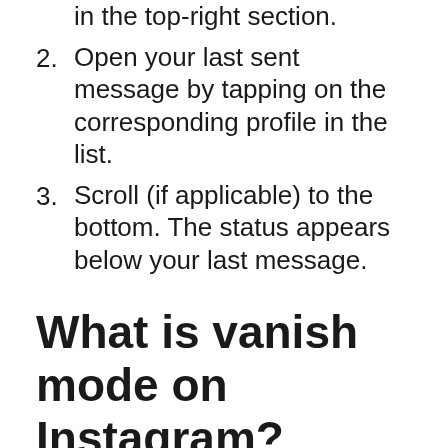in the top-right section.
2. Open your last sent message by tapping on the corresponding profile in the list.
3. Scroll (if applicable) to the bottom. The status appears below your last message.
What is vanish mode on Instagram?
Vanish mode lets people send each other disappearing messages, photos, videos and other content in a chat. Content sent in vanish mode disappears when someone leaves the chat or turns vanish mode off. To use vanish mode, you must update to